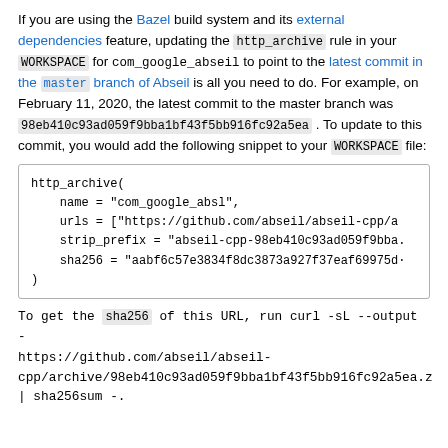If you are using the Bazel build system and its external dependencies feature, updating the http_archive rule in your WORKSPACE for com_google_abseil to point to the latest commit in the master branch of Abseil is all you need to do. For example, on February 11, 2020, the latest commit to the master branch was 98eb410c93ad059f9bba1bf43f5bb916fc92a5ea . To update to this commit, you would add the following snippet to your WORKSPACE file:
http_archive(
    name = "com_google_absl",
    urls = ["https://github.com/abseil/abseil-cpp/a
    strip_prefix = "abseil-cpp-98eb410c93ad059f9bba.
    sha256 = "aabf6c57e3834f8dc3873a927f37eaf69975d.
)
To get the sha256 of this URL, run curl -sL --output -
https://github.com/abseil/abseil-cpp/archive/98eb410c93ad059f9bba1bf43f5bb916fc92a5ea.z
| sha256sum -.